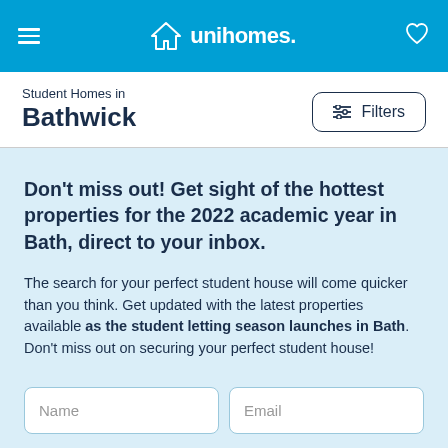unihomes.
Student Homes in Bathwick
Filters
Don't miss out! Get sight of the hottest properties for the 2022 academic year in Bath, direct to your inbox.
The search for your perfect student house will come quicker than you think. Get updated with the latest properties available as the student letting season launches in Bath. Don't miss out on securing your perfect student house!
Name
Email